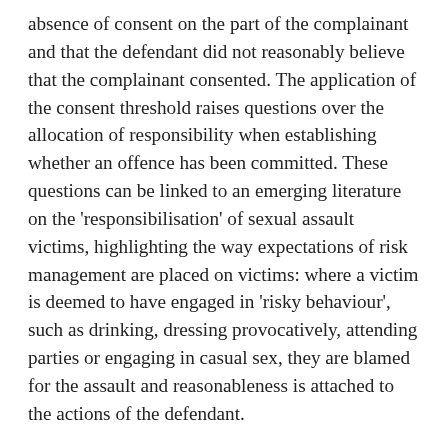absence of consent on the part of the complainant and that the defendant did not reasonably believe that the complainant consented. The application of the consent threshold raises questions over the allocation of responsibility when establishing whether an offence has been committed. These questions can be linked to an emerging literature on the 'responsibilisation' of sexual assault victims, highlighting the way expectations of risk management are placed on victims: where a victim is deemed to have engaged in 'risky behaviour', such as drinking, dressing provocatively, attending parties or engaging in casual sex, they are blamed for the assault and reasonableness is attached to the actions of the defendant.
This project aims to provide an insight into community and professional perceptions of the adequacy and